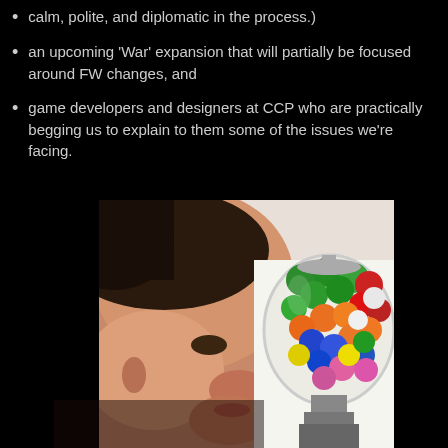calm, polite, and diplomatic in the process.)
an upcoming 'War' expansion that will partially be focused around FW changes, and
game developers and designers at CCP who are practically begging us to explain to them some of the issues we're facing.
[Figure (photo): A child's face in profile looking at a glass gumball machine filled with colorful gumballs (green, red, orange, blue, pink, white) on a white background.]